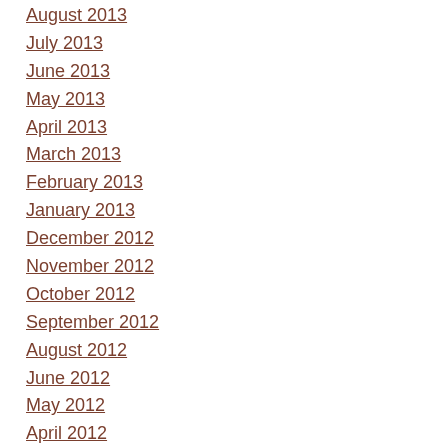August 2013
July 2013
June 2013
May 2013
April 2013
March 2013
February 2013
January 2013
December 2012
November 2012
October 2012
September 2012
August 2012
June 2012
May 2012
April 2012
March 2012
February 2012
November 2011